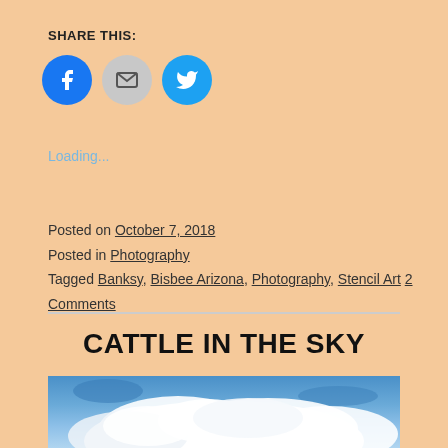SHARE THIS:
[Figure (infographic): Three social share icon circles: Facebook (blue), Email (gray), Twitter (cyan)]
Loading...
Posted on October 7, 2018
Posted in Photography
Tagged Banksy, Bisbee Arizona, Photography, Stencil Art 2 Comments
CATTLE IN THE SKY
[Figure (photo): Photograph of blue sky with white clouds]